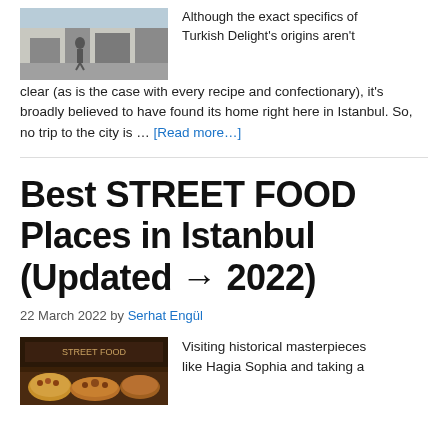[Figure (photo): Partial street scene photo at top-left]
Although the exact specifics of Turkish Delight's origins aren't clear (as is the case with every recipe and confectionary), it's broadly believed to have found its home right here in Istanbul. So, no trip to the city is … [Read more...]
Best STREET FOOD Places in Istanbul (Updated → 2022)
22 March 2022 by Serhat Engül
[Figure (photo): Street food market photo showing various foods]
Visiting historical masterpieces like Hagia Sophia and taking a